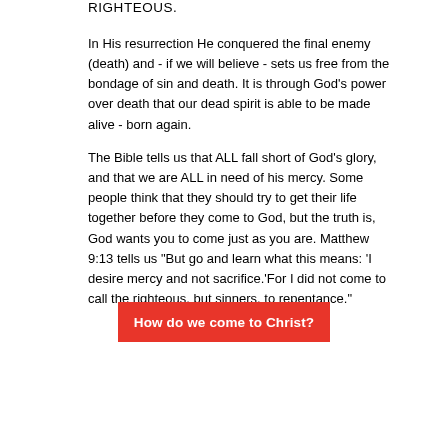RIGHTEOUS.
In His resurrection He conquered the final enemy (death) and - if we will believe - sets us free from the bondage of sin and death. It is through God's power over death that our dead spirit is able to be made alive - born again.
The Bible tells us that ALL fall short of God’s glory, and that we are ALL in need of his mercy. Some people think that they should try to get their life together before they come to God, but the truth is, God wants you to come just as you are. Matthew 9:13 tells us “But go and learn what this means: ‘I desire mercy and not sacrifice.’For I did not come to call the righteous, but sinners, to repentance.”
How do we come to Christ?